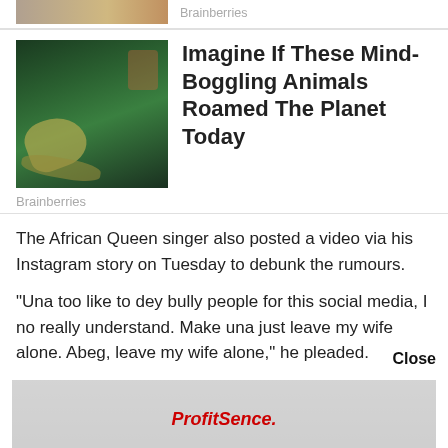[Figure (photo): Partial image at top, cut off, with Brainberries label]
Brainberries
[Figure (photo): Photo of a large snake in a green-lit environment with people in background]
Imagine If These Mind-Boggling Animals Roamed The Planet Today
Brainberries
The African Queen singer also posted a video via his Instagram story on Tuesday to debunk the rumours.
“Una too like to dey bully people for this social media, I no really understand. Make una just leave my wife alone. Abeg, leave my wife alone,” he pleaded.
[Figure (advertisement): Advertisement image with ProfitSence branding in red italic text]